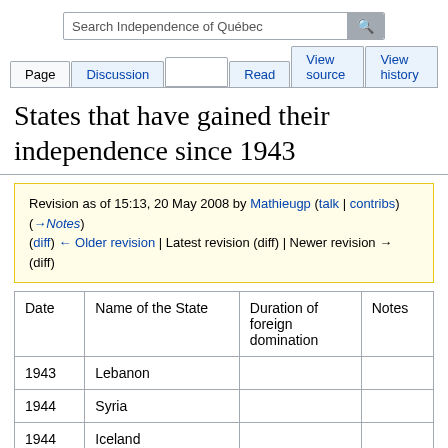Search Independence of Québec
Page | Discussion | Read | View source | View history
States that have gained their independence since 1943
Revision as of 15:13, 20 May 2008 by Mathieugp (talk | contribs) (→Notes)
(diff) ← Older revision | Latest revision (diff) | Newer revision → (diff)
| Date | Name of the State | Duration of foreign domination | Notes |
| --- | --- | --- | --- |
| 1943 | Lebanon |  |  |
| 1944 | Syria |  |  |
| 1944 | Iceland |  |  |
|  |  |  |  |